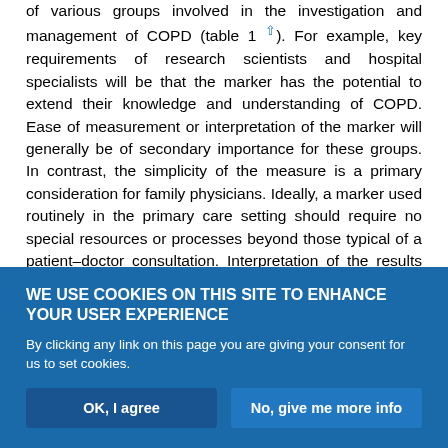of various groups involved in the investigation and management of COPD (table 1 ↑). For example, key requirements of research scientists and hospital specialists will be that the marker has the potential to extend their knowledge and understanding of COPD. Ease of measurement or interpretation of the marker will generally be of secondary importance for these groups. In contrast, the simplicity of the measure is a primary consideration for family physicians. Ideally, a marker used routinely in the primary care setting should require no special resources or processes beyond those typical of a patient–doctor consultation. Interpretation of the results should be clear and not require specialist knowledge, and
WE USE COOKIES ON THIS SITE TO ENHANCE YOUR USER EXPERIENCE
By clicking any link on this page you are giving your consent for us to set cookies.